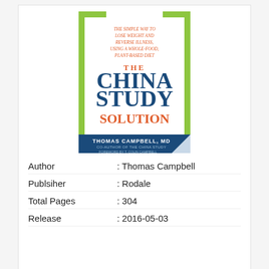[Figure (illustration): Book cover of 'The China Study Solution' by Thomas Campbell, MD. Cover shows subtitle 'The Simple Way to Lose Weight and Reverse Illness, Using a Whole-Food, Plant-Based Diet' in orange text at top, 'THE CHINA STUDY SOLUTION' in large blue and orange lettering in the center, author name 'THOMAS CAMPBELL, MD' at the bottom on a blue band, with green bracket decorations on the sides.]
Author          : Thomas Campbell
Publsiher       : Rodale
Total Pages     : 304
Release         : 2016-05-03